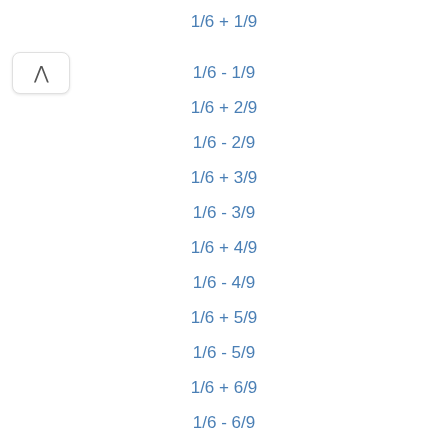1/6 + 1/9
1/6 - 1/9
1/6 + 2/9
1/6 - 2/9
1/6 + 3/9
1/6 - 3/9
1/6 + 4/9
1/6 - 4/9
1/6 + 5/9
1/6 - 5/9
1/6 + 6/9
1/6 - 6/9
1/6 + 7/9
1/6 - 7/9
1/6 + 8/9